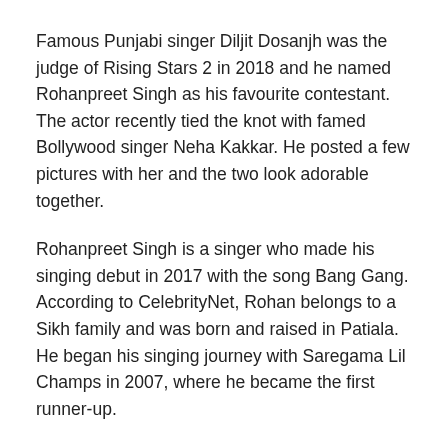Famous Punjabi singer Diljit Dosanjh was the judge of Rising Stars 2 in 2018 and he named Rohanpreet Singh as his favourite contestant. The actor recently tied the knot with famed Bollywood singer Neha Kakkar. He posted a few pictures with her and the two look adorable together.
Rohanpreet Singh is a singer who made his singing debut in 2017 with the song Bang Gang. According to CelebrityNet, Rohan belongs to a Sikh family and was born and raised in Patiala. He began his singing journey with Saregama Lil Champs in 2007, where he became the first runner-up.
He is an Indian singer, television character and songwriter, he is known for his appearances on many reality shows such as Rising Stars (Season 2), Sa Re Ga Ma Pa Lil Champs, Mujhse Shaadi Karoge (Season 1) and more.